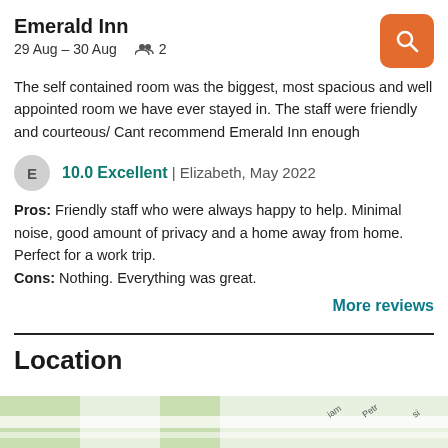Emerald Inn
29 Aug – 30 Aug   2
The self contained room was the biggest, most spacious and well appointed room we have ever stayed in. The staff were friendly and courteous/ Cant recommend Emerald Inn enough
10.0 Excellent | Elizabeth, May 2022
Pros:  Friendly staff who were always happy to help. Minimal noise, good amount of privacy and a home away from home. Perfect for a work trip.
Cons:  Nothing. Everything was great.
More reviews
Location
[Figure (map): Partial street map showing location of Emerald Inn]